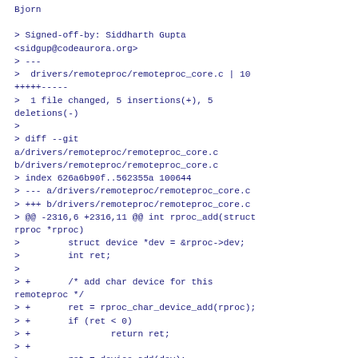Bjorn

> Signed-off-by: Siddharth Gupta <sidgup@codeaurora.org>
> ---
>  drivers/remoteproc/remoteproc_core.c | 10 +++++-----
>  1 file changed, 5 insertions(+), 5 deletions(-)
> 
> diff --git a/drivers/remoteproc/remoteproc_core.c b/drivers/remoteproc/remoteproc_core.c
> index 626a6b90f..562355a 100644
> --- a/drivers/remoteproc/remoteproc_core.c
> +++ b/drivers/remoteproc/remoteproc_core.c
> @@ -2316,6 +2316,11 @@ int rproc_add(struct rproc *rproc)
>         struct device *dev = &rproc->dev;
>         int ret;
> 
> +       /* add char device for this remoteproc */
> +       ret = rproc_char_device_add(rproc);
> +       if (ret < 0)
> +               return ret;
> +
>         ret = device_add(dev);
>         if (ret < 0)
>                 return ret;